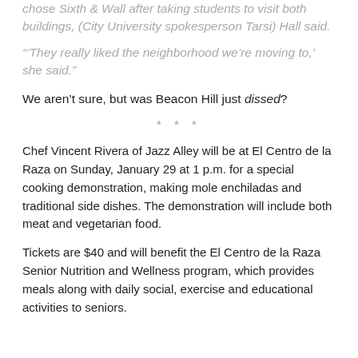chose Sixth & Wall after taking students to visit both buildings, (City University spokesperson Tarsi) Hall said.
“‘They really liked the neighborhood we’re moving to,’ she said.”
We aren’t sure, but was Beacon Hill just dissed?
* * *
Chef Vincent Rivera of Jazz Alley will be at El Centro de la Raza on Sunday, January 29 at 1 p.m. for a special cooking demonstration, making mole enchiladas and traditional side dishes. The demonstration will include both meat and vegetarian food.
Tickets are $40 and will benefit the El Centro de la Raza Senior Nutrition and Wellness program, which provides meals along with daily social, exercise and educational activities to seniors.